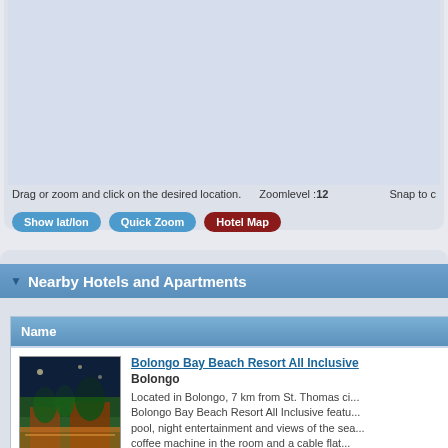[Figure (map): Interactive map area showing location, light blue-grey background]
Drag or zoom and click on the desired location.    Zoomlevel :12    Snap to c
Show lat/lon   Quick Zoom   Hotel Map
Nearby Hotels and Apartments
| Name |
| --- |
| Bolongo Bay Beach Resort All Inclusive
Bolongo
Located in Bolongo, 7 km from St. Thomas ci... Bolongo Bay Beach Resort All Inclusive featu... pool, night entertainment and views of the sea... coffee machine in the room and a cable flat... |
Bolongo Bay Beach Resort All Inclusive Bolongo